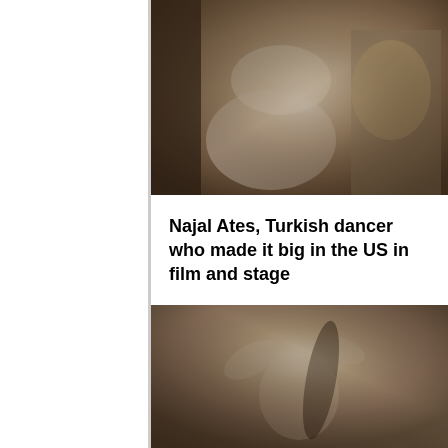[Figure (photo): Black and white sepia photograph of Najal Ates, a Turkish belly dancer in a white flowing costume with bejeweled headpiece, bending dramatically on stage]
Najal Ates, Turkish dancer who made it big in the US in film and stage
[Figure (photo): Black and white sepia photograph of Najal Ates performing a belly dance with arms outstretched, long dark hair, wearing a dark top]